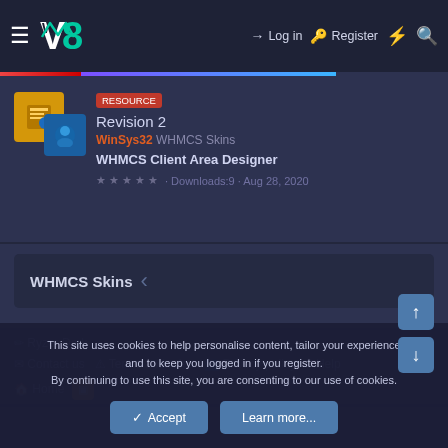≡ V8 → Log in  Register ⚡ 🔍
Revision 2
WinSys32 WHMCS Skins
WHMCS Client Area Designer
★★★★★ · Downloads:9 · Aug 28, 2020
WHMCS Skins
✏ Ryzer Dark  ✉ Contact us  ⚠ Terms and rules  👥 Privacy policy  ? Help  🏠 Home  RSS
This site uses cookies to help personalise content, tailor your experience and to keep you logged in if you register.
By continuing to use this site, you are consenting to our use of cookies.
✓ Accept  Learn more...